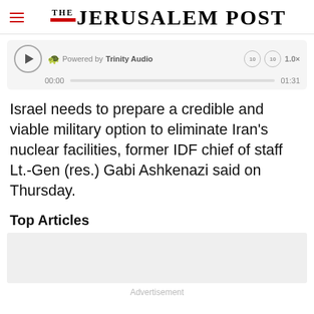THE JERUSALEM POST
[Figure (screenshot): Audio player widget: play button, 'Powered by Trinity Audio' label, skip buttons (10s), speed control 1.0x, progress bar showing 00:00 / 01:31]
Israel needs to prepare a credible and viable military option to eliminate Iran's nuclear facilities, former IDF chief of staff Lt.-Gen (res.) Gabi Ashkenazi said on Thursday.
Top Articles
[Figure (other): Gray advertisement placeholder box]
Advertisement